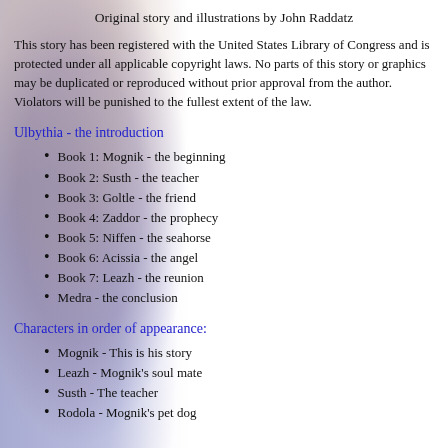Original story and illustrations by John Raddatz
This story has been registered with the United States Library of Congress and is protected under all applicable copyright laws. No parts of this story or graphics may be duplicated or reproduced without prior approval from the author. Violators will be punished to the fullest extent of the law.
Ulbythia - the introduction
Book 1: Mognik - the beginning
Book 2: Susth - the teacher
Book 3: Goltle - the friend
Book 4: Zaddor - the prophecy
Book 5: Niffen - the seahorse
Book 6: Acissia - the angel
Book 7: Leazh - the reunion
Medra - the conclusion
Characters in order of appearance:
Mognik - This is his story
Leazh - Mognik's soul mate
Susth - The teacher
Rodola - Mognik's pet dog